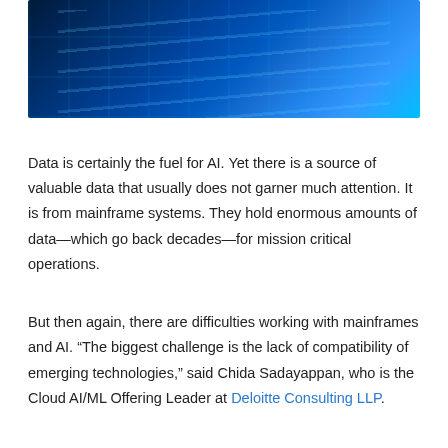[Figure (photo): Dark blue photo of server racks / data center with glowing blue lights and digital grid/network overlay, suggesting cloud computing or mainframe infrastructure.]
Data is certainly the fuel for AI. Yet there is a source of valuable data that usually does not garner much attention. It is from mainframe systems. They hold enormous amounts of data—which go back decades—for mission critical operations.
But then again, there are difficulties working with mainframes and AI. "The biggest challenge is the lack of compatibility of emerging technologies," said Chida Sadayappan, who is the Cloud AI/ML Offering Leader at Deloitte Consulting LLP.
But the benefits of AI are too important to ignore. So what can be done? Well, one strategy is for leveraging cloud platforms outside of the mainframe environment.
“New approaches to cloud migration replace the traditional ETL